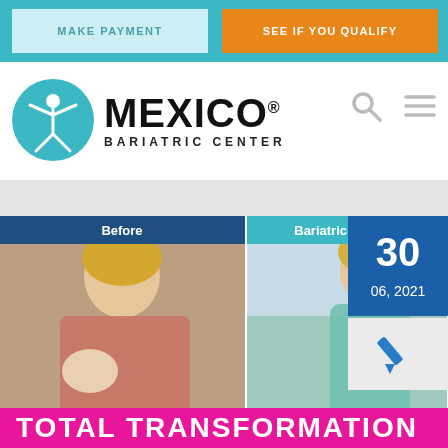MAKE PAYMENT
SEE IF YOU QUALIFY
[Figure (logo): Mexico Bariatric Center logo with teal circle and figure icon, text reads MEXICO BARIATRIC CENTER with registered trademark symbol]
[Figure (photo): Before and after bariatric surgery photos of a woman, with tab labels: Before, Bariatric Surgery, Plas[tic Surgery]. Date overlay: 30 / 06, 2021. Banner text: TOTAL TRANSFORMATION]
30
06, 2021
TOTAL TRANSFORMATION